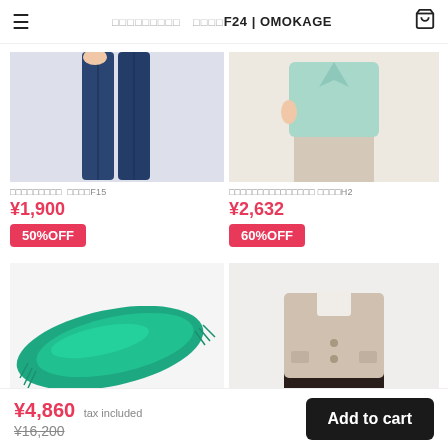□□□□□□□□□ □□□□F24 | OMOKAGE
[Figure (photo): Product photo of dark blue jeans on a person]
□□□□□□□□□ □□□□F15
¥1,900
50%OFF
[Figure (photo): Product photo of mint/teal jacket with beige pants]
□□□□□□□□□□□□□□□ □□□□H2
¥2,632
60%OFF
[Figure (photo): Product photo of teal/green silk scarf on white background]
[Figure (photo): Product photo of beige wool jacket with dark skirt]
¥4,860 tax included ¥16,200
Add to cart